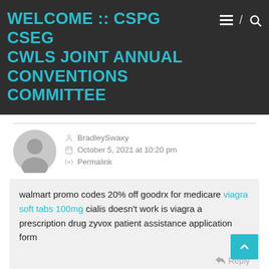WELCOME :: CSPG CSEG CWLS JOINT ANNUAL CONVENTIONS COMMITTEE
BradleySwaxy
October 5, 2021 at 10:20 pm
Permalink
walmart promo codes 20% off goodrx for medicare viagra soft tabs 100mg cialis doesn't work is viagra a prescription drug zyvox patient assistance application form